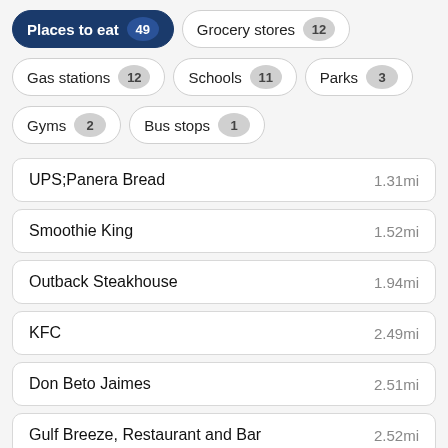Places to eat 49
Grocery stores 12
Gas stations 12
Schools 11
Parks 3
Gyms 2
Bus stops 1
UPS;Panera Bread 1.31mi
Smoothie King 1.52mi
Outback Steakhouse 1.94mi
KFC 2.49mi
Don Beto Jaimes 2.51mi
Gulf Breeze, Restaurant and Bar 2.52mi
Starbucks 2.52mi